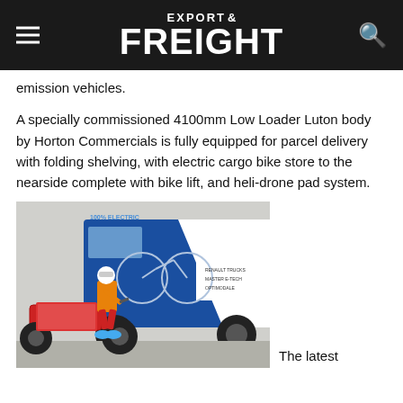EXPORT& FREIGHT
emission vehicles.
A specially commissioned 4100mm Low Loader Luton body by Horton Commercials is fully equipped for parcel delivery with folding shelving, with electric cargo bike store to the nearside complete with bike lift, and heli-drone pad system.
[Figure (photo): A cyclist riding a red electric cargo bike in front of a blue and white Renault Trucks Master E-Tech Optimodale delivery van with '100% Electric' branding]
The latest